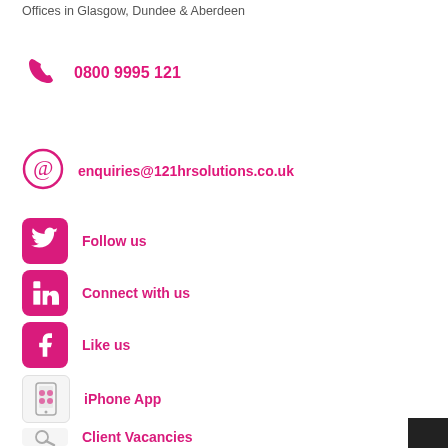Offices in Glasgow, Dundee & Aberdeen
0800 9995 121
enquiries@121hrsolutions.co.uk
Follow us
Connect with us
Like us
iPhone App
Client Vacancies